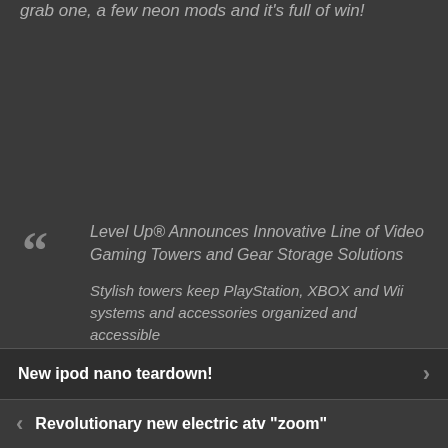grab one, a few neon mods and it's full of win!
Level Up® Announces Innovative Line of Video Gaming Towers and Gear Storage Solutions
Stylish towers keep PlayStation, XBOX and Wii systems and accessories organized and accessible
Seattle, WA – September 8, 2010 – Level Up, a division of Slam Brands, Inc, unveils four of its
New ipod nano teardown!
Revolutionary new electric atv "zoom"